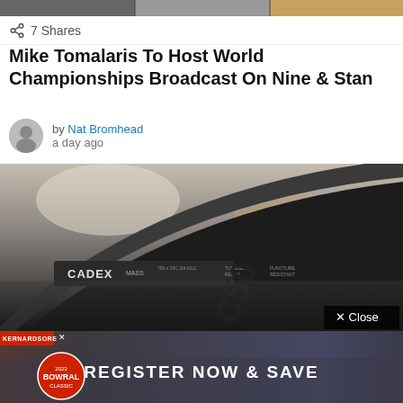[Figure (photo): Cropped top photo strip showing cycling event images]
7 Shares
Mike Tomalaris To Host World Championships Broadcast On Nine & Stan
by Nat Bromhead
a day ago
[Figure (photo): Close-up photo of a CADEX cycling tire/wheel rim with C50 labeling]
[Figure (photo): Bowral Classic 2023 cycling event advertisement banner: REGISTER NOW & SAVE]